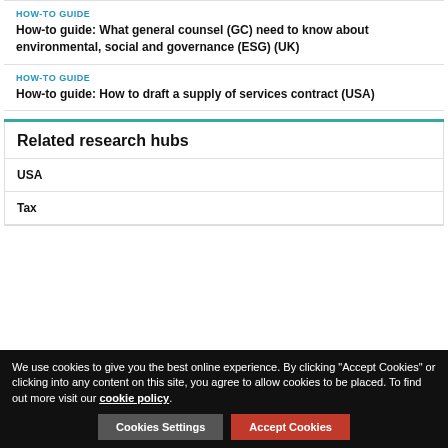HOW-TO GUIDE
How-to guide: What general counsel (GC) need to know about environmental, social and governance (ESG) (UK)
HOW-TO GUIDE
How-to guide: How to draft a supply of services contract (USA)
Related research hubs
USA
Tax
We use cookies to give you the best online experience. By clicking "Accept Cookies" or clicking into any content on this site, you agree to allow cookies to be placed. To find out more visit our cookie policy.